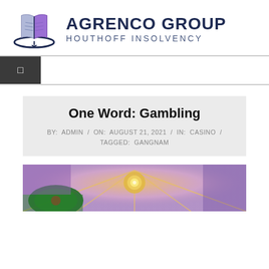[Figure (logo): Agrenco Group Houthoff Insolvency logo with open book icon]
One Word: Gambling
BY: ADMIN / ON: AUGUST 21, 2021 / IN: CASINO / TAGGED: GANGNAM
[Figure (photo): Casino interior photo showing a chandelier and roulette table with purple and gold lighting]